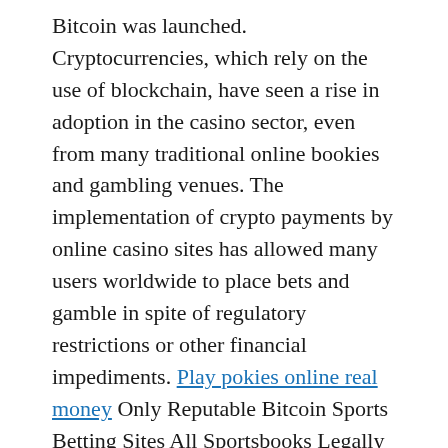Bitcoin was launched. Cryptocurrencies, which rely on the use of blockchain, have seen a rise in adoption in the casino sector, even from many traditional online bookies and gambling venues. The implementation of crypto payments by online casino sites has allowed many users worldwide to place bets and gamble in spite of regulatory restrictions or other financial impediments. Play pokies online real money Only Reputable Bitcoin Sports Betting Sites All Sportsbooks Legally Licensed, overwatch custom games how to lock slots.
From the list of withdrawal methods available, 2, overwatch custom games limit hero slot. Igt free bitcoin slot machine games online